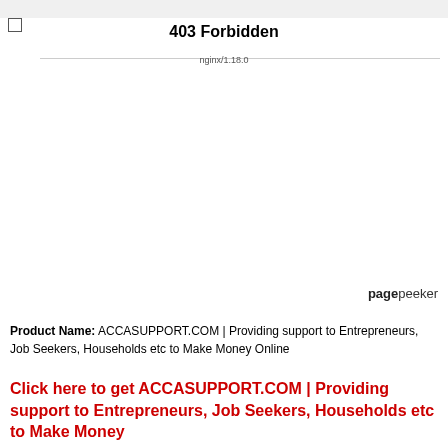403 Forbidden
nginx/1.18.0
pagepeeker
Product Name: ACCASUPPORT.COM | Providing support to Entrepreneurs, Job Seekers, Households etc to Make Money Online
Click here to get ACCASUPPORT.COM | Providing support to Entrepreneurs, Job Seekers, Households etc to Make Money